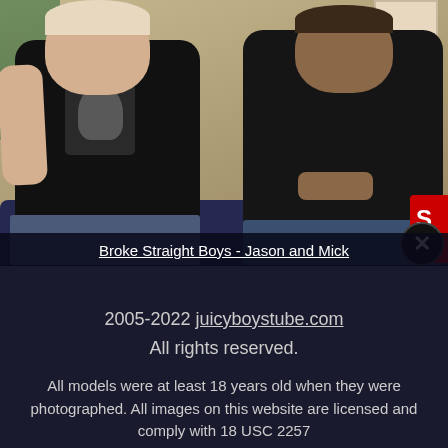[Figure (photo): Two young men sitting on a dark blue sofa against a tan/beige wall. The person on the left wears a black t-shirt with a graphic design. The person on the right wears a dark polo shirt and jeans.]
Broke Straight Boys - Jason and Mick
2005-2022 juicyboystube.com
All rights reserved.
All models were at least 18 years old when they were photographed. All images on this website are licensed and comply with 18 USC 2257